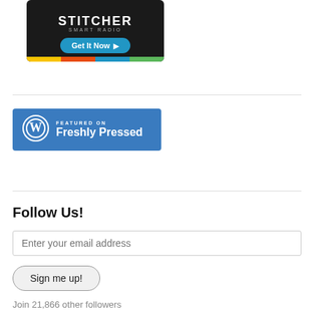[Figure (logo): Stitcher Smart Radio banner with 'Get It Now' button and colorful bottom bar]
[Figure (logo): WordPress 'Featured on Freshly Pressed' badge with W logo on blue background]
Follow Us!
Enter your email address
Sign me up!
Join 21,866 other followers